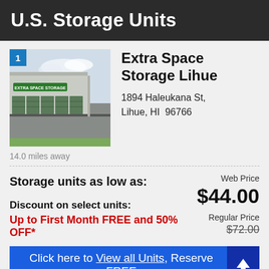U.S. Storage Units
[Figure (photo): Exterior photo of Extra Space Storage facility in Lihue with numbered badge '1' in top-left corner]
Extra Space Storage Lihue
1894 Haleukana St, Lihue, HI  96766
14.0 miles away
Storage units as low as:
Web Price $44.00
Discount on select units:
Regular Price $72.00
Up to First Month FREE and 50% OFF*
Click here to View all Units, Reserve FREE